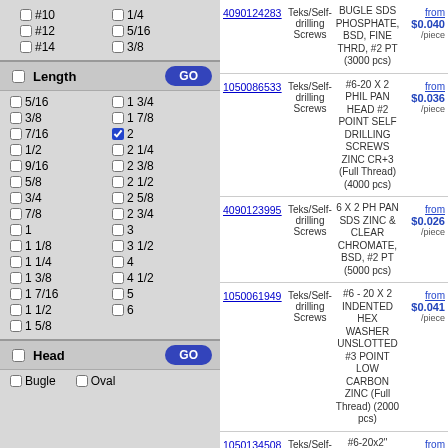#10, 1/4, #12, 5/16, #14, 3/8
Length GO
5/16, 1 3/4, 3/8, 1 7/8, 7/16, 2 (checked), 1/2, 2 1/4, 9/16, 2 3/8, 5/8, 2 1/2, 3/4, 2 5/8, 7/8, 2 3/4, 1, 3, 1 1/8, 3 1/2, 1 1/4, 4, 1 3/8, 4 1/2, 1 7/16, 5, 1 1/2, 6, 1 5/8
Head GO
Bugle, Oval
| ID | Category | Description | Price |
| --- | --- | --- | --- |
| 4090124283 | Teks/Self-drilling Screws | BUGLE SDS PHOSPHATE, BSD, FINE THRD, #2 PT (3000 pcs) | from $0.040 /piece |
| 1050086533 | Teks/Self-drilling Screws | #6-20 X 2 PHIL PAN HEAD #2 POINT SELF DRILLING SCREWS ZINC CR+3 (Full Thread) (4000 pcs) | from $0.036 /piece |
| 4090123995 | Teks/Self-drilling Screws | 6 X 2 PH PAN SDS ZINC & CLEAR CHROMATE, BSD, #2 PT (5000 pcs) | from $0.026 /piece |
| 1050061949 | Teks/Self-drilling Screws | #6 - 20 X 2 INDENTED HEX WASHER UNSLOTTED #3 POINT LOW CARBON ZINC (Full Thread) (2000 pcs) | from $0.041 /piece |
| 1050134508 | Teks/Self-drilling Screws | #6-20x2" INDENT HWH UNSLOT #2 POINT SELF DRILLING SCREWS ZINC CR+3 | from $0.030 /piece |